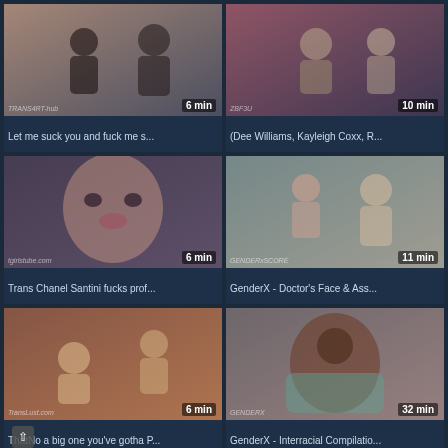[Figure (photo): Video thumbnail showing two people in a bedroom, duration 6 min, watermark TRANS4RT-hub]
Let me suck you and fuck me s...
[Figure (photo): Video thumbnail showing people on a couch, duration 10 min, watermark ZBF3U]
(Dee Williams, Kayleigh Coxx, R...
[Figure (photo): Video thumbnail close-up of brunette woman, duration 6 min, watermark tgirlstube.com]
Trans Chanel Santini fucks prof...
[Figure (photo): Video thumbnail showing two people, duration 11 min, watermark GENDERxSCORE]
GenderX - Doctor's Face & Ass...
[Figure (photo): Video thumbnail showing older women, duration 6 min, watermark TransLust.com]
ThatNo a big one you've gotha P...
[Figure (photo): Video thumbnail showing a dark-skinned woman on a bed, duration 32 min, watermark GENDERX]
GenderX - Interracial Compilatio...